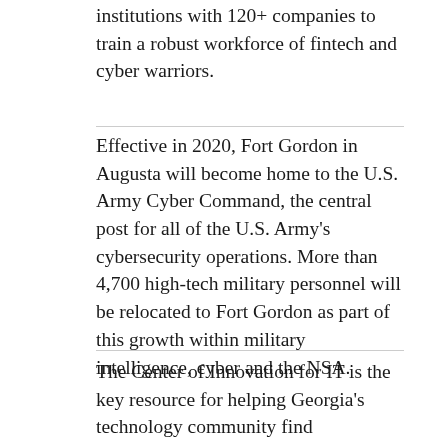institutions with 120+ companies to train a robust workforce of fintech and cyber warriors.
Effective in 2020, Fort Gordon in Augusta will become home to the U.S. Army Cyber Command, the central post for all of the U.S. Army's cybersecurity operations. More than 4,700 high-tech military personnel will be relocated to Fort Gordon as part of this growth within military intelligence, cyber and the NSA.
The Center of Innovation for IT is the key resource for helping Georgia's technology community find collaborative research opportunities and partners to connect, compete and grow globally. From cybersecurity and mobility to health IT and medical devices, the Center is an open door to Georgia's robust technology community that helps businesses seize new